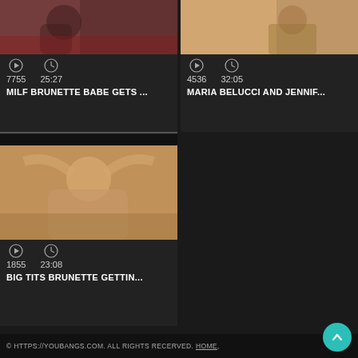[Figure (screenshot): Video thumbnail top-left: MILF Brunette Babe video card with play count 7755 and duration 25:27]
7755   25:27
MILF BRUNETTE BABE GETS ...
[Figure (screenshot): Video thumbnail top-right: Maria Belucci and Jennif video card with play count 4536 and duration 32:05]
4536   32:05
MARIA BELUCCI AND JENNIF...
[Figure (screenshot): Video thumbnail bottom-left: Big Tits Brunette Gettin video card with play count 1855 and duration 23:08]
1855   23:08
BIG TITS BRUNETTE GETTIN...
© HTTPS://YOUBANGS.COM. ALL RIGHTS RECERVED. HOME,